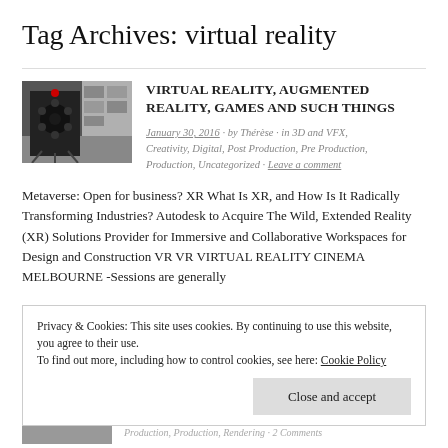Tag Archives: virtual reality
VIRTUAL REALITY, AUGMENTED REALITY, GAMES AND SUCH THINGS
January 30, 2016 · by Thérèse · in 3D and VFX, Creativity, Digital, Post Production, Pre Production, Production, Uncategorized · Leave a comment
[Figure (photo): Photo of a camera rig setup in a room with equipment on shelves in the background]
Metaverse: Open for business? XR What Is XR, and How Is It Radically Transforming Industries? Autodesk to Acquire The Wild, Extended Reality (XR) Solutions Provider for Immersive and Collaborative Workspaces for Design and Construction VR VR VIRTUAL REALITY CINEMA MELBOURNE -Sessions are generally
Privacy & Cookies: This site uses cookies. By continuing to use this website, you agree to their use.
To find out more, including how to control cookies, see here: Cookie Policy
Close and accept
Production, Production, Rendering · 2 Comments